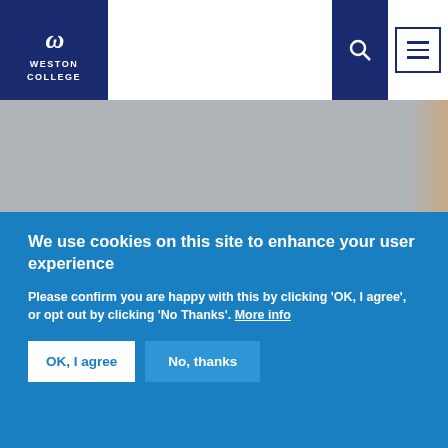[Figure (logo): Weston College logo: dark navy background with italic W symbol and WESTON COLLEGE text in white]
[Figure (photo): Gray header hero image area, partially showing a student photo on the right edge]
We use cookies on this site to enhance your user experience
Please confirm you are happy with this by clicking 'OK, I agree', or opt out by clicking 'No Thanks'. More info